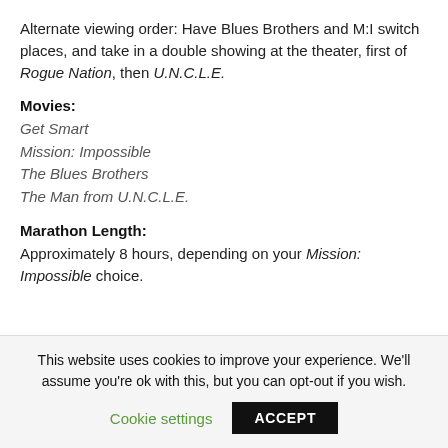Alternate viewing order: Have Blues Brothers and M:I switch places, and take in a double showing at the theater, first of Rogue Nation, then U.N.C.L.E.
Movies:
Get Smart
Mission: Impossible
The Blues Brothers
The Man from U.N.C.L.E.
Marathon Length:
Approximately 8 hours, depending on your Mission: Impossible choice.
This website uses cookies to improve your experience. We'll assume you're ok with this, but you can opt-out if you wish.
Cookie settings | ACCEPT